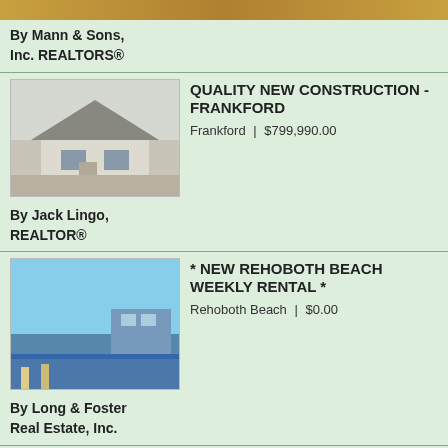[Figure (photo): Top partial image strip of a property]
By Mann & Sons, Inc. REALTORS®
[Figure (photo): Photo of a new construction house in Frankford]
QUALITY NEW CONSTRUCTION - FRANKFORD
Frankford | $799,990.00
By Jack Lingo, REALTOR®
[Figure (photo): Photo of a waterfront property at Rehoboth Beach]
* NEW REHOBOTH BEACH WEEKLY RENTAL *
Rehoboth Beach | $0.00
By Long & Foster Real Estate, Inc.
[Figure (photo): Photo of a house in Lewes (Lochwood)]
LOCHWOOD - LEWES
Lewes | $349,900.00